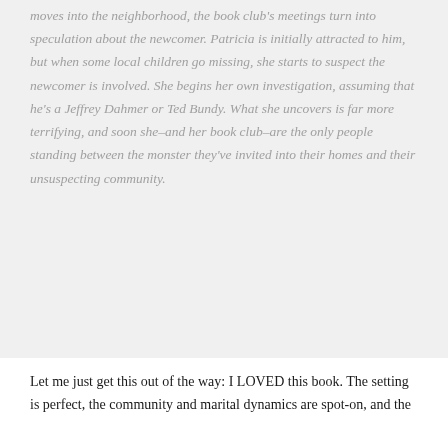moves into the neighborhood, the book club's meetings turn into speculation about the newcomer. Patricia is initially attracted to him, but when some local children go missing, she starts to suspect the newcomer is involved. She begins her own investigation, assuming that he's a Jeffrey Dahmer or Ted Bundy. What she uncovers is far more terrifying, and soon she–and her book club–are the only people standing between the monster they've invited into their homes and their unsuspecting community.
Let me just get this out of the way: I LOVED this book. The setting is perfect, the community and marital dynamics are spot-on, and the